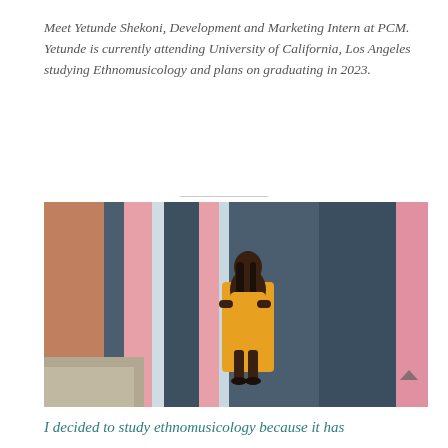Meet Yetunde Shekoni, Development and Marketing Intern at PCM. Yetunde is currently attending University of California, Los Angeles studying Ethnomusicology and plans on graduating in 2023.
[Figure (photo): Young woman in a yellow dress standing in front of a colorful mural with blue, pink, and white stripes painted on a wall, arms crossed, looking at camera]
I decided to study ethnomusicology because it has